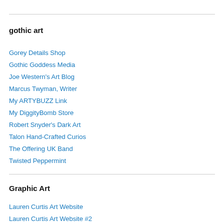gothic art
Gorey Details Shop
Gothic Goddess Media
Joe Western's Art Blog
Marcus Twyman, Writer
My ARTYBUZZ Link
My DiggityBomb Store
Robert Snyder's Dark Art
Talon Hand-Crafted Curios
The Offering UK Band
Twisted Peppermint
Graphic Art
Lauren Curtis Art Website
Lauren Curtis Art Website #2